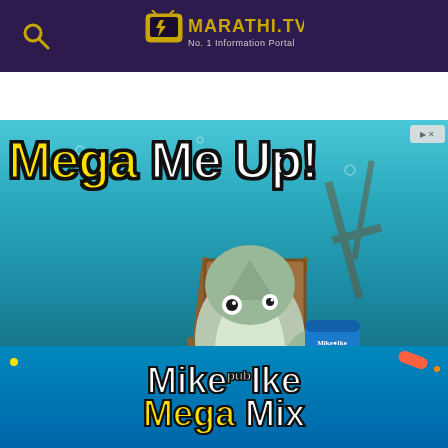MARATHI.TV No. 1 Information Portal
[Figure (illustration): Advertisement for Mike and Ike Mega Mix candy. Shows an underwater scene with a cartoon shark character sitting in a beach chair, holding a bag of Mike and Ike Mega Mix candy. There is a treasure chest full of colorful candy on the left. Text reads 'Mega Me Up!' at the top in large bold yellow and white letters. Bottom banner shows the Mike and Ike Mega Mix logo with candy pieces.]